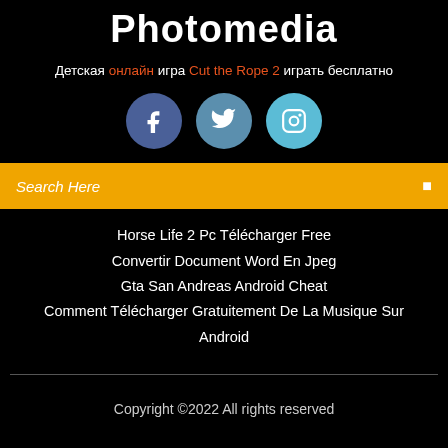Photomedia
Детская онлайн игра Cut the Rope 2 играть бесплатно
[Figure (illustration): Three social media circular icon buttons: Facebook (blue), Twitter (steel blue), Instagram (light blue)]
Search Here
Horse Life 2 Pc Télécharger Free
Convertir Document Word En Jpeg
Gta San Andreas Android Cheat
Comment Télécharger Gratuitement De La Musique Sur Android
Copyright ©2022 All rights reserved